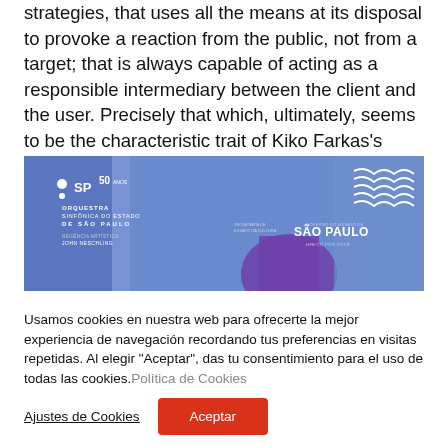strategies, that uses all the means at its disposal to provoke a reaction from the public, not from a target; that is always capable of acting as a responsible intermediary between the client and the user. Precisely that which, ultimately, seems to be the characteristic trait of Kiko Farkas's oeuvre.
[Figure (photo): Banner image for Orquestra Sinfônica do Estado de São Paulo with 50 anos logo. Blue-toned promotional graphic with musical silhouettes and government of São Paulo branding.]
Usamos cookies en nuestra web para ofrecerte la mejor experiencia de navegación recordando tus preferencias en visitas repetidas. Al elegir "Aceptar", das tu consentimiento para el uso de todas las cookies. Política de Cookies
Ajustes de Cookies
Aceptar